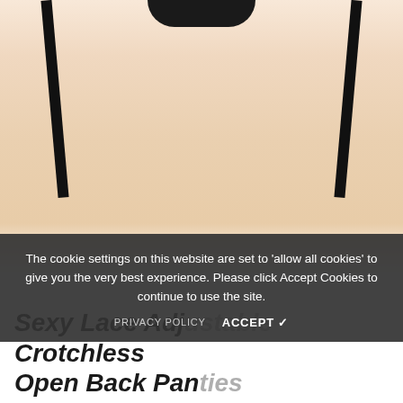[Figure (photo): Product photo showing lower body of a model wearing black lace crotchless underwear with ribbon ties, cropped to show legs from upper thigh down on white background]
The cookie settings on this website are set to 'allow all cookies' to give you the very best experience. Please click Accept Cookies to continue to use the site.
PRIVACY POLICY   ACCEPT ✓
Sexy Lace Adjustable Crotchless Open Back Panties